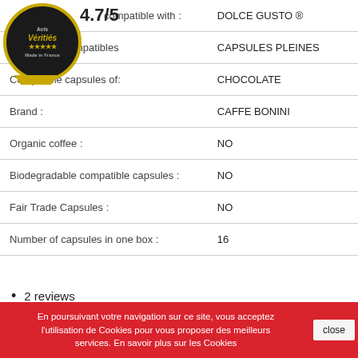[Figure (logo): Avis Vérifiés circular badge with gold border and stars]
4.7/5
| compatible with : | DOLCE GUSTO |
| capsules compatibles | CAPSULES PLEINES |
| Compatible capsules of: | CHOCOLATE |
| Brand : | CAFFE BONINI |
| Organic coffee : | NO |
| Biodegradable compatible capsules : | NO |
| Fair Trade Capsules : | NO |
| Number of capsules in one box : | 16 |
2 reviews
[Figure (logo): Verified Reviews logo with orange italic Verified and bold Reviews text]
En poursuivant votre navigation sur ce site, vous acceptez l'utilisation de Cookies pour vous proposer des meilleurs services. En savoir plus sur les Cookies